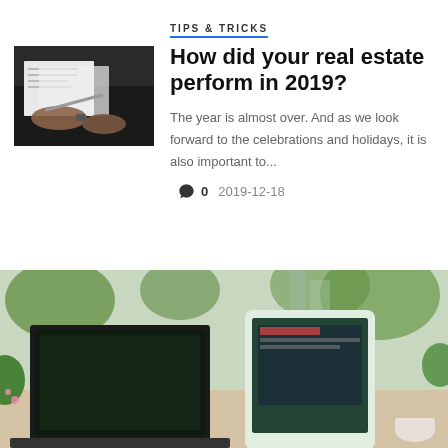[Figure (photo): Hands holding and reviewing paper documents on a dark surface, thumbnail image for article]
TIPS & TRICKS
How did your real estate perform in 2019?
The year is almost over. And as we look forward to the celebrations and holidays, it is also important to...
0   2019-12-18
[Figure (photo): Outdoor scene with laptop and tablet on a table surrounded by green plants, blurred background with buildings]